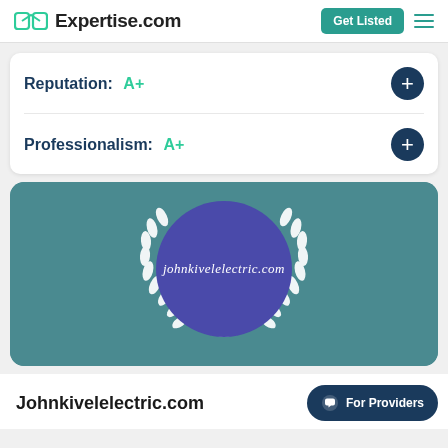Expertise.com | Get Listed
Reputation: A+
Professionalism: A+
[Figure (logo): Teal background card with a blue/purple circle in the center showing 'johnkivelelectric.com' in italic script, surrounded by white laurel wreath branches]
Johnkivelelectric.com